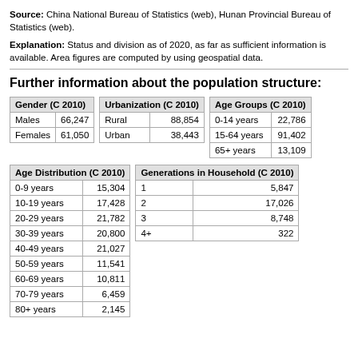Source: China National Bureau of Statistics (web), Hunan Provincial Bureau of Statistics (web).
Explanation: Status and division as of 2020, as far as sufficient information is available. Area figures are computed by using geospatial data.
Further information about the population structure:
| Gender (C 2010) |  |
| --- | --- |
| Males | 66,247 |
| Females | 61,050 |
| Urbanization (C 2010) |  |
| --- | --- |
| Rural | 88,854 |
| Urban | 38,443 |
| Age Groups (C 2010) |  |
| --- | --- |
| 0-14 years | 22,786 |
| 15-64 years | 91,402 |
| 65+ years | 13,109 |
| Age Distribution (C 2010) |  |
| --- | --- |
| 0-9 years | 15,304 |
| 10-19 years | 17,428 |
| 20-29 years | 21,782 |
| 30-39 years | 20,800 |
| 40-49 years | 21,027 |
| 50-59 years | 11,541 |
| 60-69 years | 10,811 |
| 70-79 years | 6,459 |
| 80+ years | 2,145 |
| Generations in Household (C 2010) |  |
| --- | --- |
| 1 | 5,847 |
| 2 | 17,026 |
| 3 | 8,748 |
| 4+ | 322 |